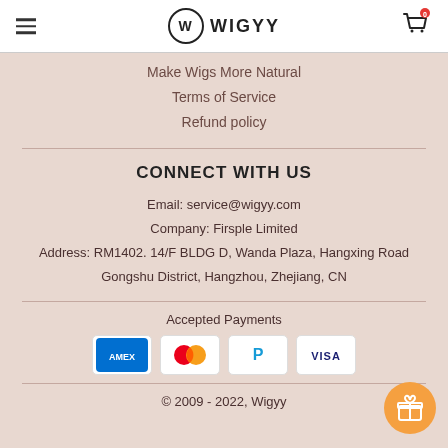WIGYY
Make Wigs More Natural
Terms of Service
Refund policy
CONNECT WITH US
Email: service@wigyy.com
Company: Firsple Limited
Address: RM1402. 14/F BLDG D, Wanda Plaza, Hangxing Road Gongshu District, Hangzhou, Zhejiang, CN
Accepted Payments
[Figure (logo): Payment method icons: American Express (AMEX), Mastercard, PayPal, Visa]
© 2009 - 2022, Wigyy